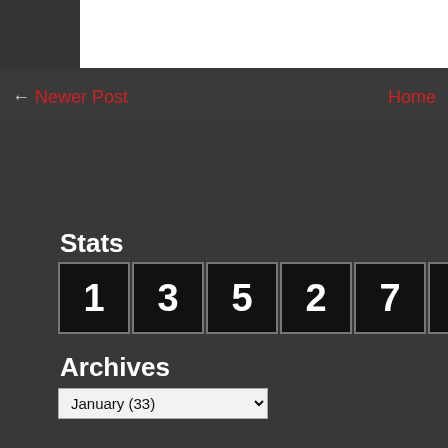[Figure (screenshot): Top white bar area, partial website header]
← Newer Post    Home
Stats
[Figure (infographic): Odometer-style digit counter showing: 1 3 5 2 7 6 4 9 6]
Archives
January (33)
Pages
Home
[Figure (illustration): Bottom dark footer area with partial mascot illustration in white panel at lower right — yellow bird/chicken character with orange and red details]